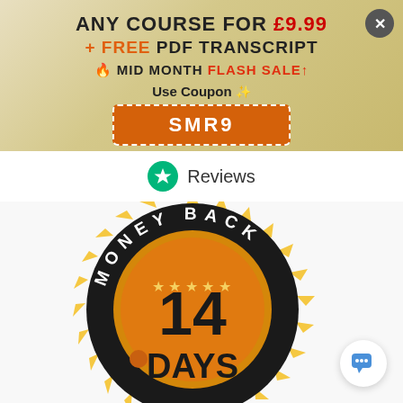ANY COURSE FOR £9.99 + FREE PDF TRANSCRIPT 🔥 MID MONTH FLASH SALE↑
Use Coupon ✨
SMR9
Reviews
[Figure (illustration): Money Back guarantee badge: gold sunburst seal with black ring reading MONEY BACK, inner orange circle with stars and text '14 DAYS']